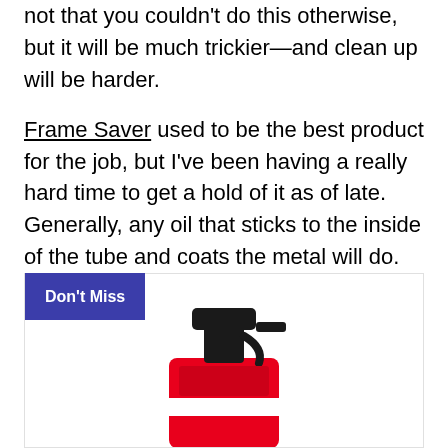not that you couldn't do this otherwise, but it will be much trickier—and clean up will be harder.
Frame Saver used to be the best product for the job, but I've been having a really hard time to get a hold of it as of late. Generally, any oil that sticks to the inside of the tube and coats the metal will do.
[Figure (photo): A red spray bottle with a black pump top, displayed inside a 'Don't Miss' promotional card with a purple/indigo badge in the top-left corner.]